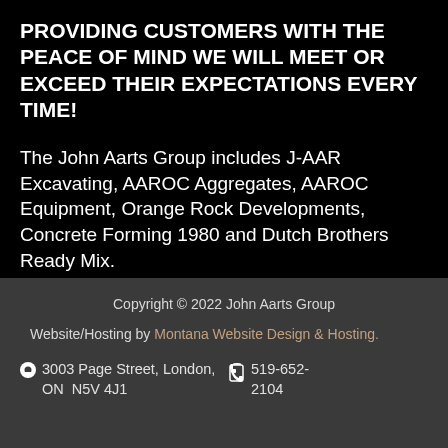PROVIDING CUSTOMERS WITH THE PEACE OF MIND WE WILL MEET OR EXCEED THEIR EXPECTATIONS EVERY TIME!
The John Aarts Group includes J-AAR Excavating, AAROC Aggregates, AAROC Equipment, Orange Rock Developments, Concrete Forming 1980 and Dutch Brothers Ready Mix.
Copyright © 2022 John Aarts Group
Website/Hosting by Montana Website Design & Hosting.
3003 Page Street, London, ON  N5V 4J1
519-652-2104